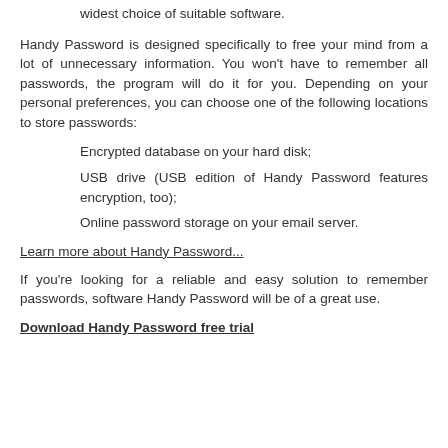widest choice of suitable software.
Handy Password is designed specifically to free your mind from a lot of unnecessary information. You won't have to remember all passwords, the program will do it for you. Depending on your personal preferences, you can choose one of the following locations to store passwords:
Encrypted database on your hard disk;
USB drive (USB edition of Handy Password features encryption, too);
Online password storage on your email server.
Learn more about Handy Password...
If you're looking for a reliable and easy solution to remember passwords, software Handy Password will be of a great use.
Download Handy Password free trial